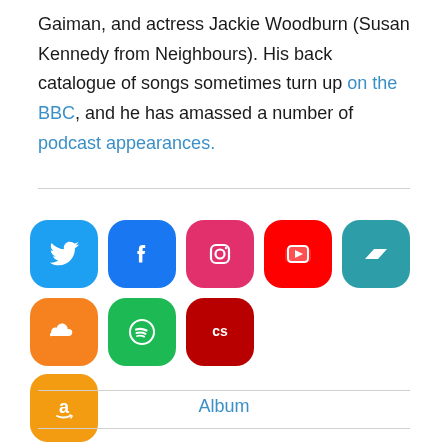Gaiman, and actress Jackie Woodburn (Susan Kennedy from Neighbours). His back catalogue of songs sometimes turn up on the BBC, and he has amassed a number of podcast appearances.
[Figure (infographic): Row of social media icon pills: Twitter (blue), Facebook (dark blue), Instagram (magenta/pink), YouTube (red), Bandcamp (teal), SoundCloud (orange), Spotify (green), Last.fm (dark red), and Amazon (orange). Each icon is displayed as a rounded pill/squircle shape with a white icon inside.]
Album